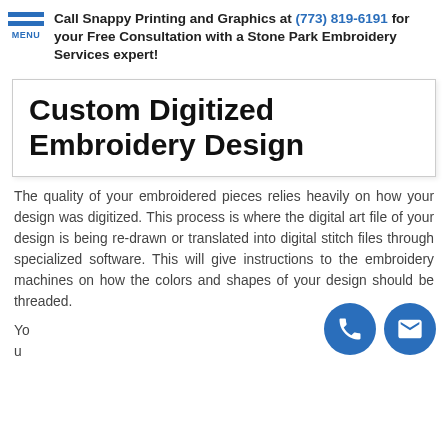Call Snappy Printing and Graphics at (773) 819-6191 for your Free Consultation with a Stone Park Embroidery Services expert!
Custom Digitized Embroidery Design
The quality of your embroidered pieces relies heavily on how your design was digitized. This process is where the digital art file of your design is being re-drawn or translated into digital stitch files through specialized software. This will give instructions to the embroidery machines on how the colors and shapes of your design should be threaded.
Yo
u
[Figure (illustration): Two circular blue icon buttons at bottom right: a phone handset icon and an envelope/mail icon]